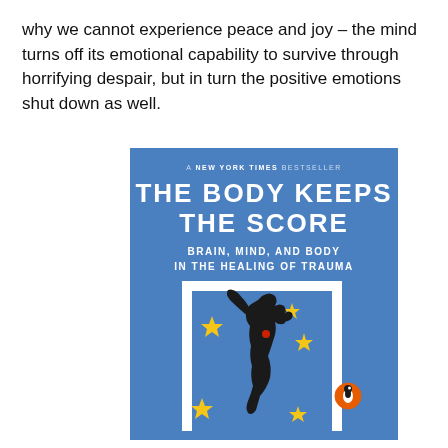why we cannot experience peace and joy – the mind turns off its emotional capability to survive through horrifying despair, but in turn the positive emotions shut down as well.
[Figure (illustration): Book cover of 'The Body Keeps the Score: Brain, Mind, and Body in the Healing of Trauma' — a New York Times bestseller published by Penguin. Blue background with a black silhouette of a dancing human figure surrounded by yellow star shapes. A white rectangular frame surrounds the figure. Penguin logo in orange circle at bottom right.]